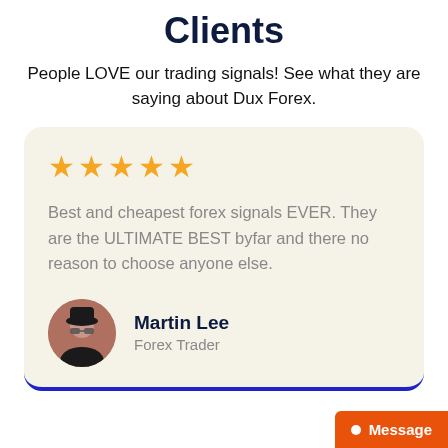Clients
People LOVE our trading signals! See what they are saying about Dux Forex.
★★★★★

Best and cheapest forex signals EVER. They are the ULTIMATE BEST byfar and there no reason to choose anyone else.

Martin Lee
Forex Trader